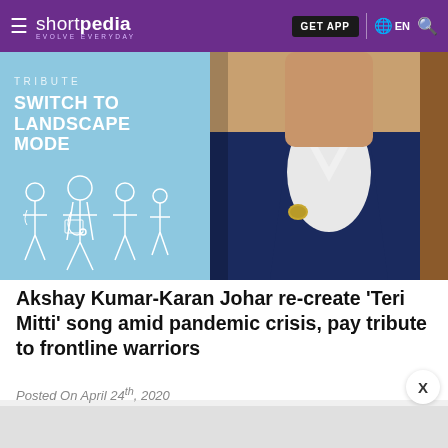shortpedia — GET APP | EN | Search
[Figure (photo): A split image: left side shows a light blue panel with text 'TRIBUTE' and 'SWITCH TO LANDSCAPE MODE' with an outline illustration of healthcare workers/doctors; right side shows a photo of a man (Akshay Kumar) wearing a dark navy blazer over a white V-neck shirt with a brooch/badge, shot from chest up.]
Akshay Kumar-Karan Johar re-create 'Teri Mitti' song amid pandemic crisis, pay tribute to frontline warriors
Posted On April 24th, 2020